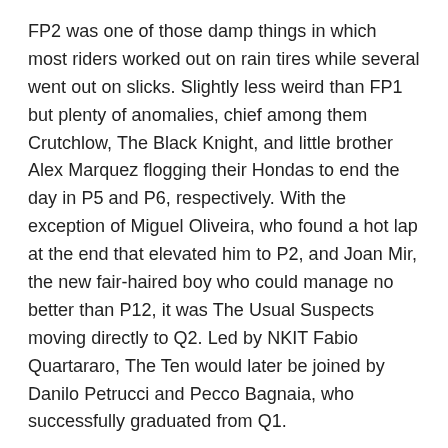FP2 was one of those damp things in which most riders worked out on rain tires while several went out on slicks. Slightly less weird than FP1 but plenty of anomalies, chief among them Crutchlow, The Black Knight, and little brother Alex Marquez flogging their Hondas to end the day in P5 and P6, respectively. With the exception of Miguel Oliveira, who found a hot lap at the end that elevated him to P2, and Joan Mir, the new fair-haired boy who could manage no better than P12, it was The Usual Suspects moving directly to Q2. Led by NKIT Fabio Quartararo, The Ten would later be joined by Danilo Petrucci and Pecco Bagnaia, who successfully graduated from Q1.
The last two minutes of MotoGP Q2 are always the best of the weekend, in the absence of a real-time nail-biter at the flag. When the dust settled on a dry Q2, Zarco's track record from 2018 stood unscathed. As usual when it